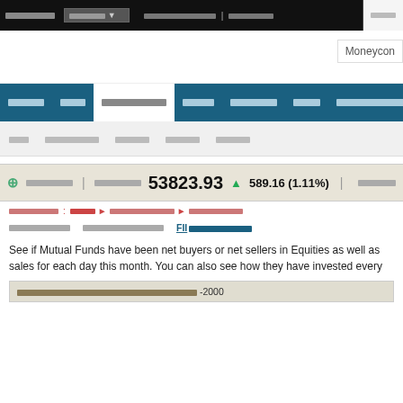[Top navigation bar with search and links]
[Figure (screenshot): Moneycontrol logo partially visible at top right]
[Main teal navigation bar with menu items]
[Sub navigation bar]
53823.93 ▲ 589.16 (1.11%)
See if Mutual Funds have been net buyers or net sellers in Equities as well as sales for each day this month. You can also see how they have invested every
[Table header row with Hindi text and -2000]